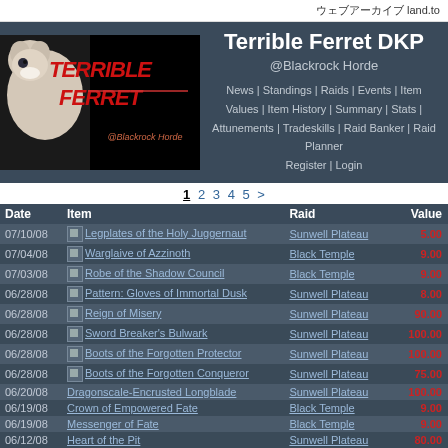ウェブアーカイブ land.to
[Figure (logo): Terrible Ferret guild logo with ferret image and red/white text on black background, @Blackrock Horde]
Terrible Ferret DKP
@Blackrock Horde
News | Standings | Raids | Events | Item Values | Item History | Summary | Stats | Attunements | Tradeskills | Raid Banker | Raid Planner
Register | Login
1 2 3 4 5 >
| Date | Item | Raid | Value |
| --- | --- | --- | --- |
| 07/10/08 | Legplates of the Holy Juggernaut | Sunwell Plateau | 5.00 |
| 07/04/08 | Warglaive of Azzinoth | Black Temple | 9.00 |
| 07/03/08 | Robe of the Shadow Council | Black Temple | 9.00 |
| 06/28/08 | Pattern: Gloves of Immortal Dusk | Sunwell Plateau | 8.00 |
| 06/28/08 | Reign of Misery | Sunwell Plateau | 90.00 |
| 06/28/08 | Sword Breaker's Bulwark | Sunwell Plateau | 100.00 |
| 06/28/08 | Boots of the Forgotten Protector | Sunwell Plateau | 100.00 |
| 06/28/08 | Boots of the Forgotten Conqueror | Sunwell Plateau | 75.00 |
| 06/20/08 | Dragonscale-Encrusted Longblade | Sunwell Plateau | 100.00 |
| 06/19/08 | Crown of Empowered Fate | Black Temple | 9.00 |
| 06/19/08 | Messenger of Fate | Black Temple | 9.00 |
| 06/12/08 | Heart of the Pit | Sunwell Plateau | 80.00 |
| 06/06/08 | Belt of the Forgotten Protector | Sunwell Plateau | 100.00 |
| 06/06/08 | Belt of the Forgotten Vanquisher | Sunwell Plateau | 80.00 |
| 06/06/08 | Belt of the Forgotten Conqueror | Sunwell Plateau | 5.00 |